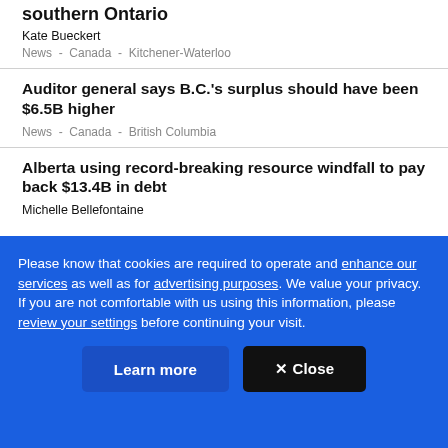southern Ontario
Kate Bueckert
News  -  Canada  -  Kitchener-Waterloo
Auditor general says B.C.'s surplus should have been $6.5B higher
News  -  Canada  -  British Columbia
Alberta using record-breaking resource windfall to pay back $13.4B in debt
Michelle Bellefontaine
News  -  Canada  -  Edmonton
Please know that cookies are required to operate and enhance our services as well as for advertising purposes. We value your privacy. If you are not comfortable with us using this information, please review your settings before continuing your visit.